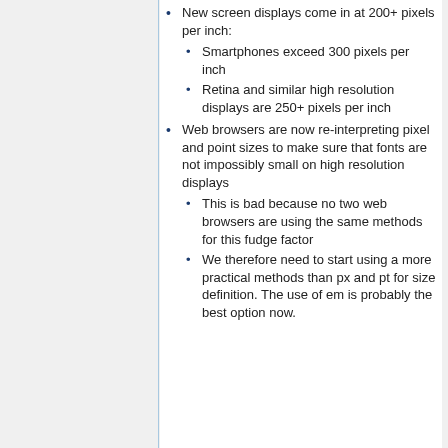New screen displays come in at 200+ pixels per inch:
Smartphones exceed 300 pixels per inch
Retina and similar high resolution displays are 250+ pixels per inch
Web browsers are now re-interpreting pixel and point sizes to make sure that fonts are not impossibly small on high resolution displays
This is bad because no two web browsers are using the same methods for this fudge factor
We therefore need to start using a more practical methods than px and pt for size definition. The use of em is probably the best option now.